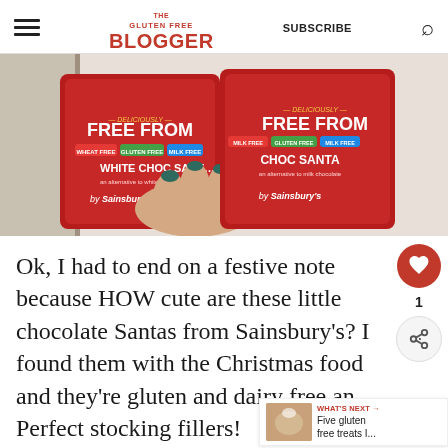THE GLUTEN FREE BLOGGER | SUBSCRIBE
[Figure (photo): A hand with dark teal nail polish holding two red 'Deliciously Free From' chocolate Santa products by Sainsbury's — a White Choc Santa and a Choc Santa, both labeled wheat free, gluten free, and milk free.]
Ok, I had to end on a festive note because HOW cute are these little chocolate Santas from Sainsbury's? I found them with the Christmas food and they're gluten and dairy free and Perfect stocking fillers!
WHAT'S NEXT → Five gluten free treats I...